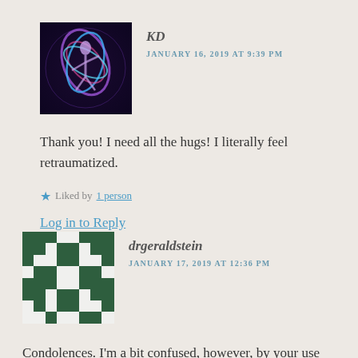[Figure (photo): Avatar image for user KD — colorful abstract with figure and blue/purple hues]
KD
JANUARY 16, 2019 AT 9:39 PM
Thank you! I need all the hugs! I literally feel retraumatized.
Liked by 1 person
Log in to Reply
[Figure (illustration): Avatar image for user drgeraldstein — black and white quilt/checkerboard pattern]
drgeraldstein
JANUARY 17, 2019 AT 12:36 PM
Condolences. I'm a bit confused, however, by your use of